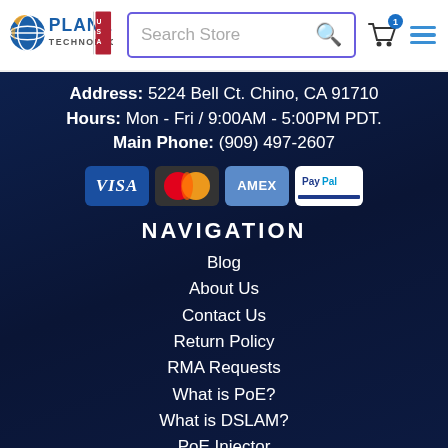Planet Technology USA — Search Store header with cart
Address: 5224 Bell Ct. Chino, CA 91710
Hours: Mon - Fri / 9:00AM - 5:00PM PDT.
Main Phone: (909) 497-2607
[Figure (logo): Payment icons: Visa, MasterCard, Amex, PayPal]
NAVIGATION
Blog
About Us
Contact Us
Return Policy
RMA Requests
What is PoE?
What is DSLAM?
PoE Injector
PoE Switch